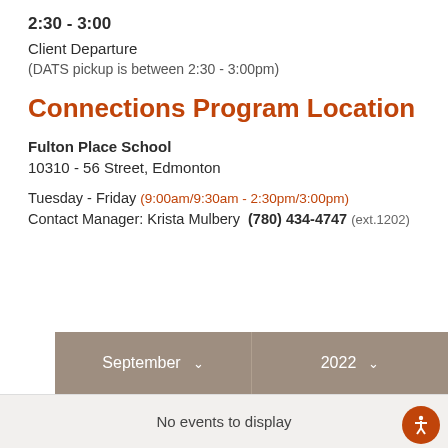2:30 - 3:00
Client Departure
(DATS pickup is between 2:30 - 3:00pm)
Connections Program Location
Fulton Place School
10310 - 56 Street, Edmonton
Tuesday - Friday (9:00am/9:30am - 2:30pm/3:00pm)
Contact Manager: Krista Mulbery  (780) 434-4747 (ext.1202)
[Figure (other): Calendar widget showing September 2022 dropdown selectors and a 'No events to display' message]